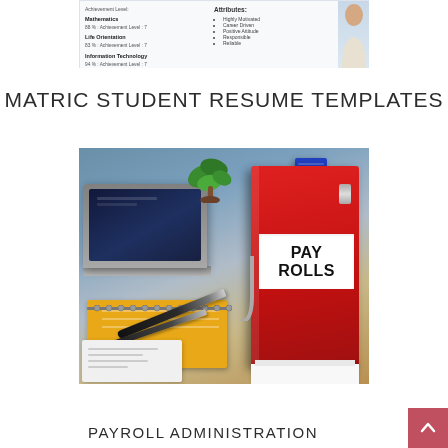[Figure (illustration): Partial view of a student resume/CV template showing subjects like Mathematics, Life Orientation, Information Technology with achievement levels, and attributes list including Highly Motivated, Career Driven, Positive Attitude, Responsible, Reliable. A person silhouette is visible on the right.]
MATRIC STUDENT RESUME TEMPLATES
[Figure (photo): Photo of a desk with a red ring binder labeled PAYROLLS prominently in the foreground, a blue binder behind it, a laptop, a green plant, a yellow notebook, two pens, and some papers scattered on the desk.]
PAYROLL ADMINISTRATION